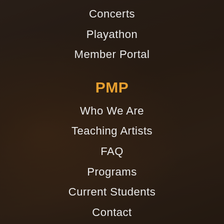Concerts
Playathon
Member Portal
PMP
Who We Are
Teaching Artists
FAQ
Programs
Current Students
Contact